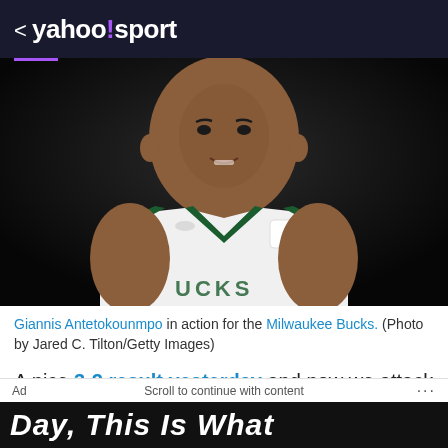< yahoo!sport
[Figure (photo): Giannis Antetokounmpo in a Milwaukee Bucks white and green jersey with Motorola logo, close-up action shot against dark background]
Giannis Antetokounmpo in action for the Milwaukee Bucks. (Photo by Jared C. Tilton/Getty Images)
A nice 3-2 result yesterday and now we attack Friday's five games to see where we can gain an edge.
Minnesota Timberwolves @ Memphis Grizzlies
Ad   Scroll to continue with content   ...
Day, This Is What